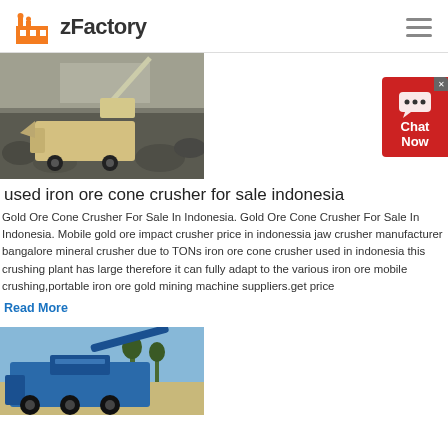zFactory
[Figure (photo): Mining crusher machine at a quarry site with excavator in background, rocky terrain]
used iron ore cone crusher for sale indonesia
Gold Ore Cone Crusher For Sale In Indonesia. Gold Ore Cone Crusher For Sale In Indonesia. Mobile gold ore impact crusher price in indonessia jaw crusher manufacturer bangalore mineral crusher due to TONs iron ore cone crusher used in indonesia this crushing plant has large therefore it can fully adapt to the various iron ore mobile crushing,portable iron ore gold mining machine suppliers.get price
Read More
[Figure (photo): Blue mobile crushing plant/machine outdoors with trees and dirt road visible]